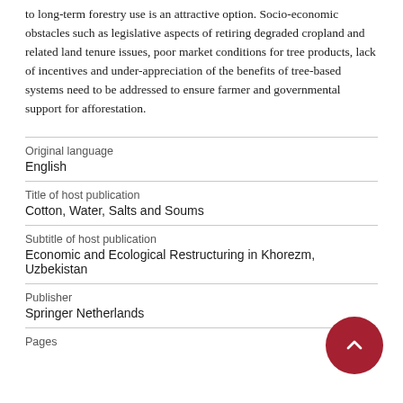to long-term forestry use is an attractive option. Socio-economic obstacles such as legislative aspects of retiring degraded cropland and related land tenure issues, poor market conditions for tree products, lack of incentives and under-appreciation of the benefits of tree-based systems need to be addressed to ensure farmer and governmental support for afforestation.
Original language
English
Title of host publication
Cotton, Water, Salts and Soums
Subtitle of host publication
Economic and Ecological Restructuring in Khorezm, Uzbekistan
Publisher
Springer Netherlands
Pages